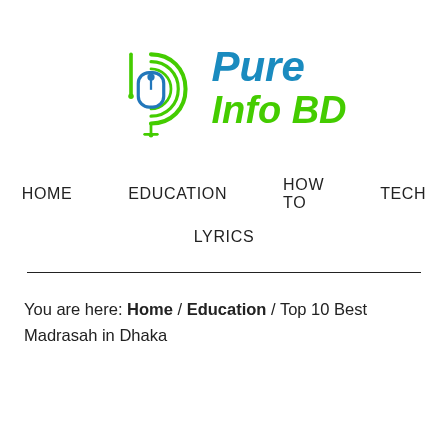[Figure (logo): Pure Info BD logo with green spiral/mouse icon and blue 'Pure' and green 'Info BD' text]
HOME   EDUCATION   HOW TO   TECH   LYRICS
You are here: Home / Education / Top 10 Best Madrasah in Dhaka